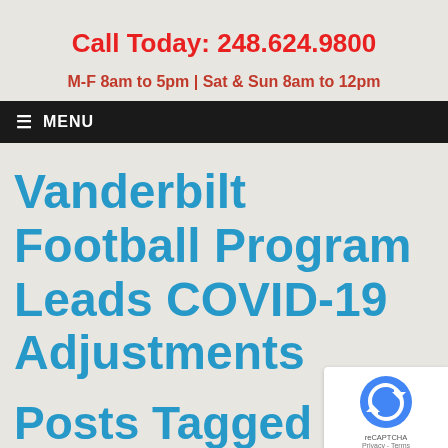Call Today: 248.624.9800
M-F 8am to 5pm | Sat & Sun 8am to 12pm
≡ MENU
Vanderbilt Football Program Leads COVID-19 Adjustments
Posts Tagged 'Sarah Fuller